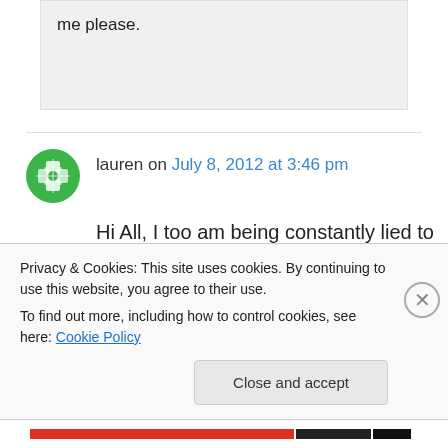me please.
lauren on July 8, 2012 at 3:46 pm
Hi All, I too am being constantly lied to and fobbed off with the '48 hours time' gimmick. I have been waiting for this so called '3 way call'
Privacy & Cookies: This site uses cookies. By continuing to use this website, you agree to their use. To find out more, including how to control cookies, see here: Cookie Policy
Close and accept